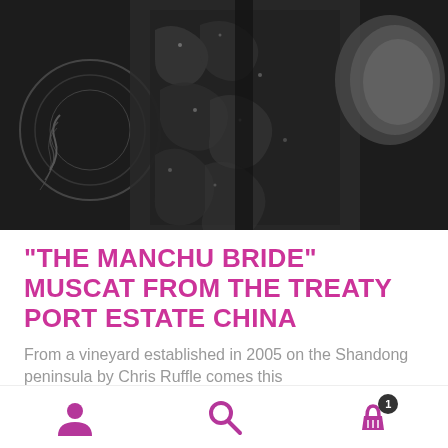[Figure (photo): Close-up black and white photograph of ornate metalwork or carved decorative object, showing intricate patterns and textures]
“THE MANCHU BRIDE” MUSCAT FROM THE TREATY PORT ESTATE CHINA
From a vineyard established in 2005 on the Shandong peninsula by Chris Ruffle comes this
[Figure (infographic): Bottom navigation bar with three icons: user/person icon, search/magnifying glass icon, and shopping basket icon with badge showing number 1]